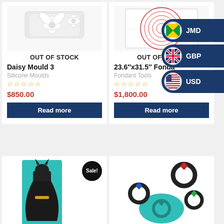[Figure (photo): Product image of Daisy Mould 3 - white silicone mould with daisy flower design, shown on white background]
OUT OF STOCK
Daisy Mould 3
Silicone Moulds
☆☆☆☆☆
$850.00
Read more
[Figure (photo): Product image of 23.6x31.5 inch Fondant mat with circular measurement guides in red on white background]
OUT OF STOCK
23.6"x31.5" Fonda
Fondant Tools
☆☆☆☆☆
$1,800.00
Read more
[Figure (infographic): Currency switcher dropdown overlay with three options: JMD (Jamaican flag), GBP (UK flag), USD (US flag), on dark navy blue rounded pill backgrounds]
[Figure (photo): Batman silicone mould showing a Batman figure standing in front of a teal/turquoise rectangular foam block, with a Sale! badge]
[Figure (photo): Diamond ring silicone moulds set showing multiple ring shapes in black with coloured gemstones (red, blue, green) and a teal mould base]